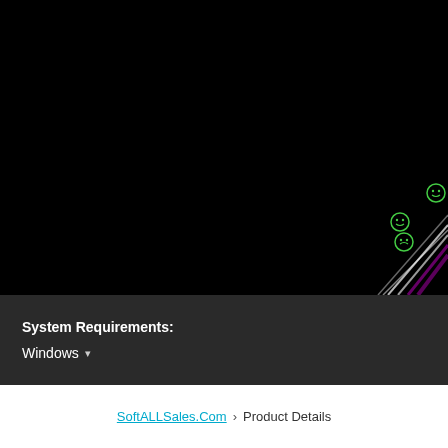[Figure (screenshot): Black background banner with decorative colorful diagonal lines and green smiley face icons in the lower right corner]
System Requirements:
Windows ▾
SoftALLSales.Com › Product Details